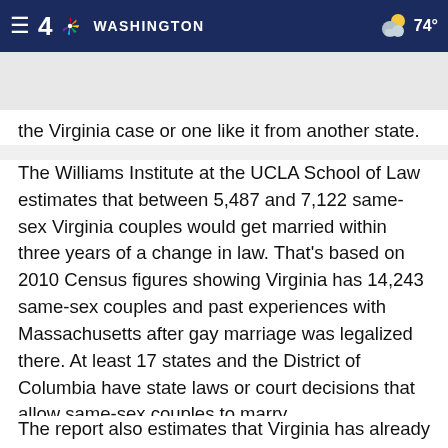NBC4 Washington — 74°
the Virginia case or one like it from another state.
The Williams Institute at the UCLA School of Law estimates that between 5,487 and 7,122 same-sex Virginia couples would get married within three years of a change in law. That's based on 2010 Census figures showing Virginia has 14,243 same-sex couples and past experiences with Massachusetts after gay marriage was legalized there. At least 17 states and the District of Columbia have state laws or court decisions that allow same-sex couples to marry.
The report also estimates that Virginia has already likely lost